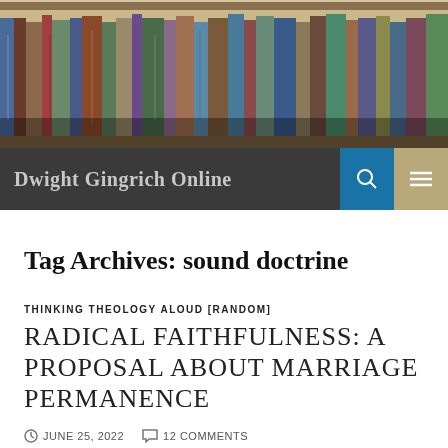[Figure (photo): A photograph of a bookshelf filled with various theology and reference books]
Dwight Gingrich Online
Tag Archives: sound doctrine
THINKING THEOLOGY ALOUD [RANDOM]
RADICAL FAITHFULNESS: A PROPOSAL ABOUT MARRIAGE PERMANENCE
JUNE 25, 2022   12 COMMENTS